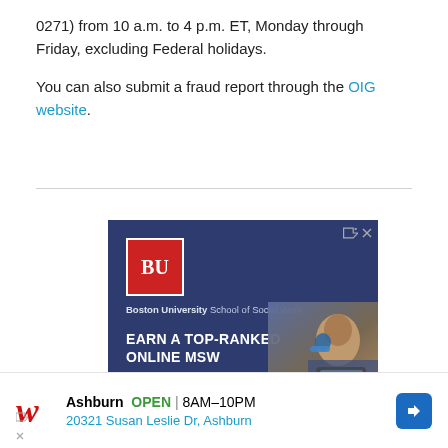0271) from 10 a.m. to 4 p.m. ET, Monday through Friday, excluding Federal holidays.
You can also submit a fraud report through the OIG website.
[Figure (illustration): Boston University School of Social Work advertisement banner with BU logo, headline 'EARN A TOP-RANKED ONLINE MSW', photo of student with headphones and laptop, and 'LEARN MORE' button on dark blue background.]
[Figure (illustration): Walgreens advertisement showing Ashburn location, OPEN 8AM-10PM, address 20321 Susan Leslie Dr, Ashburn, with Walgreens logo and navigation arrow icon.]